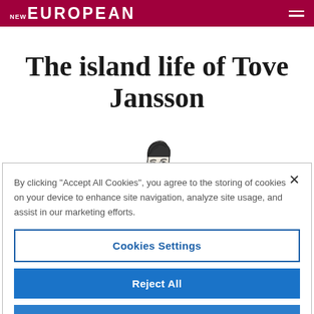NEW EUROPEAN
The island life of Tove Jansson
[Figure (illustration): Black and white pen illustration of a man's head and face, slightly left-facing, with dark hair]
By clicking “Accept All Cookies”, you agree to the storing of cookies on your device to enhance site navigation, analyze site usage, and assist in our marketing efforts.
Cookies Settings
Reject All